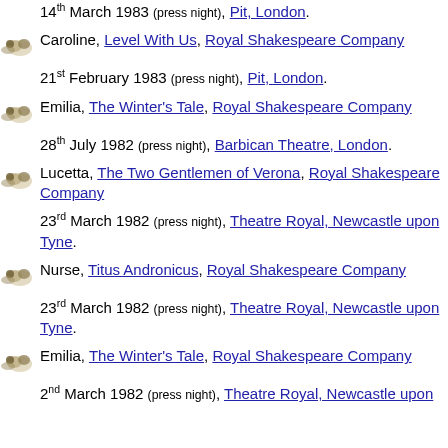14th March 1983 (press night), Pit, London.
Caroline, Level With Us, Royal Shakespeare Company. 21st February 1983 (press night), Pit, London.
Emilia, The Winter's Tale, Royal Shakespeare Company. 28th July 1982 (press night), Barbican Theatre, London.
Lucetta, The Two Gentlemen of Verona, Royal Shakespeare Company. 23rd March 1982 (press night), Theatre Royal, Newcastle upon Tyne.
Nurse, Titus Andronicus, Royal Shakespeare Company. 23rd March 1982 (press night), Theatre Royal, Newcastle upon Tyne.
Emilia, The Winter's Tale, Royal Shakespeare Company. 2nd March 1982 (press night), Theatre Royal, Newcastle upon